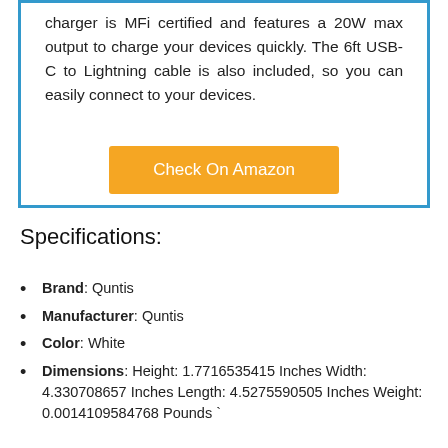charger is MFi certified and features a 20W max output to charge your devices quickly. The 6ft USB-C to Lightning cable is also included, so you can easily connect to your devices.
Check On Amazon
Specifications:
Brand: Quntis
Manufacturer: Quntis
Color: White
Dimensions: Height: 1.7716535415 Inches Width: 4.330708657 Inches Length: 4.5275590505 Inches Weight: 0.0014109584768 Pounds